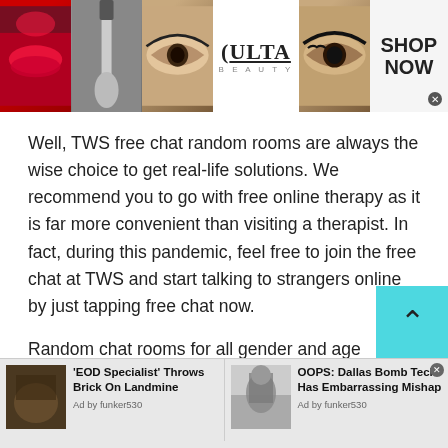[Figure (screenshot): ULTA Beauty advertisement banner with makeup images (lips, brush, eyes) and SHOP NOW call to action]
Well, TWS free chat random rooms are always the wise choice to get real-life solutions. We recommend you to go with free online therapy as it is far more convenient than visiting a therapist. In fact, during this pandemic, feel free to join the free chat at TWS and start talking to strangers online by just tapping free chat now.
Random chat rooms for all gender and age groups
[Figure (screenshot): Bottom advertisement strip with two ad items: 'EOD Specialist Throws Brick On Landmine' and 'OOPS: Dallas Bomb Tech Has Embarrassing Mishap' by funker530]